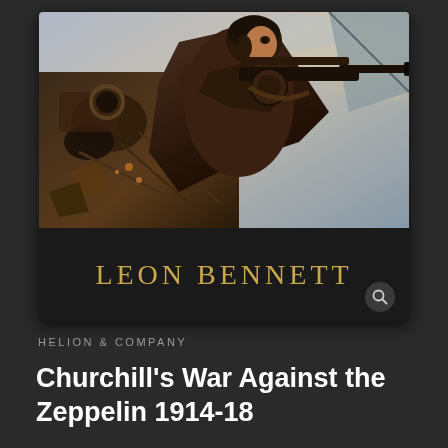[Figure (illustration): WWI era book cover illustration showing a soldier/airman in dark clothing holding a machine gun, with military aircraft and wreckage in the background, painted in dramatic brown and grey tones]
LEON BENNETT
HELION & COMPANY
Churchill's War Against the Zeppelin 1914-18